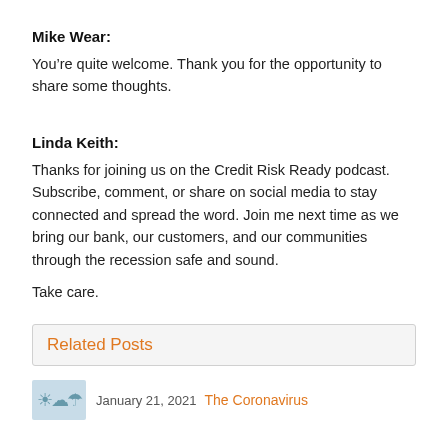Mike Wear:
You’re quite welcome. Thank you for the opportunity to share some thoughts.
Linda Keith:
Thanks for joining us on the Credit Risk Ready podcast. Subscribe, comment, or share on social media to stay connected and spread the word. Join me next time as we bring our bank, our customers, and our communities through the recession safe and sound.
Take care.
Related Posts
January 21, 2021  The Coronavirus